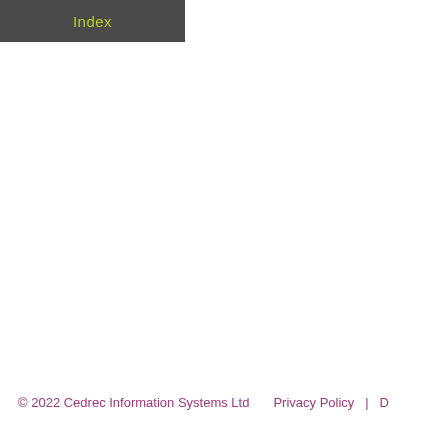Index
© 2022 Cedrec Information Systems Ltd    Privacy Policy  |  D